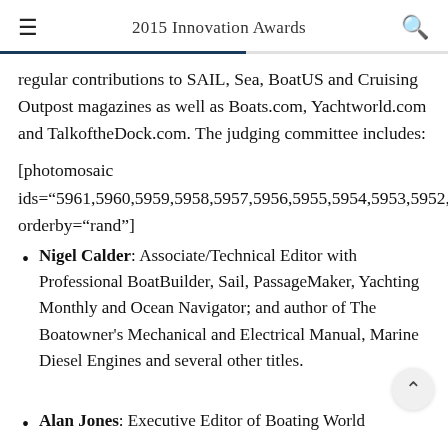2015 Innovation Awards
regular contributions to SAIL, Sea, BoatUS and Cruising Outpost magazines as well as Boats.com, Yachtworld.com and TalkoftheDock.com. The judging committee includes:
[photomosaic ids="5961,5960,5959,5958,5957,5956,5955,5954,5953,5952,5... orderby="rand"]
Nigel Calder: Associate/Technical Editor with Professional BoatBuilder, Sail, PassageMaker, Yachting Monthly and Ocean Navigator; and author of The Boatowner's Mechanical and Electrical Manual, Marine Diesel Engines and several other titles.
Alan Jones: Executive Editor of Boating World